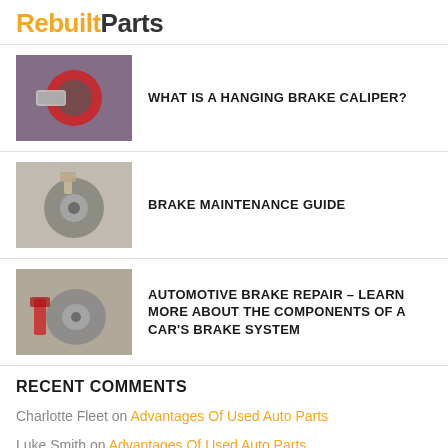RebuiltParts
WHAT IS A HANGING BRAKE CALIPER?
BRAKE MAINTENANCE GUIDE
AUTOMOTIVE BRAKE REPAIR – LEARN MORE ABOUT THE COMPONENTS OF A CAR'S BRAKE SYSTEM
RECENT COMMENTS
Charlotte Fleet on Advantages Of Used Auto Parts
Luke Smith on Advantages Of Used Auto Parts
Luke Smith on How Your Vehicle's Airbags Work